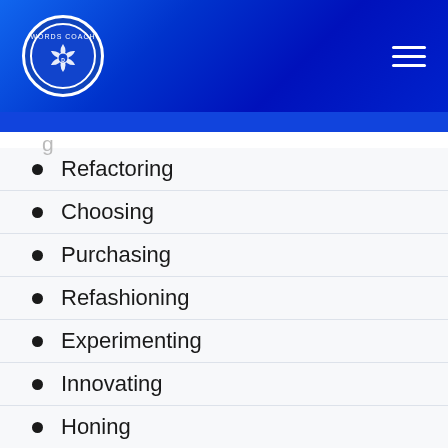Words Coach
Refactoring
Choosing
Purchasing
Refashioning
Experimenting
Innovating
Honing
Mastering
Mashing